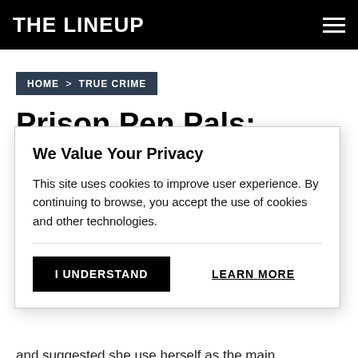THE LINEUP
HOME > TRUE CRIME
Prison Pen Pals:
We Value Your Privacy
This site uses cookies to improve user experience. By continuing to browse, you accept the use of cookies and other technologies.
I UNDERSTAND
LEARN MORE
and suggested she use herself as the main ingredient.